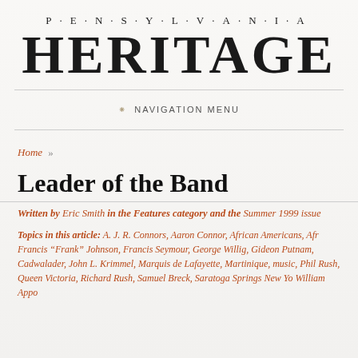P·E·N·S·Y·L·V·A·N·I·A HERITAGE
NAVIGATION MENU
Home »
Leader of the Band
Written by Eric Smith in the Features category and the Summer 1999 issue
Topics in this article: A. J. R. Connors, Aaron Connor, African Americans, Afr Francis "Frank" Johnson, Francis Seymour, George Willig, Gideon Putnam, Cadwalader, John L. Krimmel, Marquis de Lafayette, Martinique, music, Phil Rush, Queen Victoria, Richard Rush, Samuel Breck, Saratoga Springs New Yo William Appo